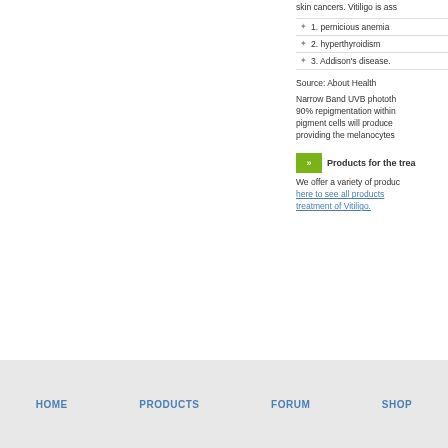skin cancers. Vitiligo is ass
1. pernicious anemia
2. hyperthyroidism
3. Addison's disease.
Source: About Health
Narrow Band UVB phototh 90% repigmentation within pigment cells will produce providing the melanocytes
Products for the trea
We offer a variety of produc here to see all products treatment of Vitiligo.
HOME   PRODUCTS   FORUM   SHOP